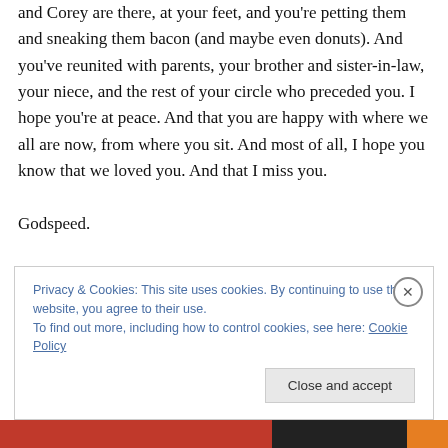and Corey are there, at your feet, and you're petting them and sneaking them bacon (and maybe even donuts). And you've reunited with parents, your brother and sister-in-law, your niece, and the rest of your circle who preceded you. I hope you're at peace. And that you are happy with where we all are now, from where you sit. And most of all, I hope you know that we loved you. And that I miss you.

Godspeed.
Privacy & Cookies: This site uses cookies. By continuing to use this website, you agree to their use.
To find out more, including how to control cookies, see here: Cookie Policy